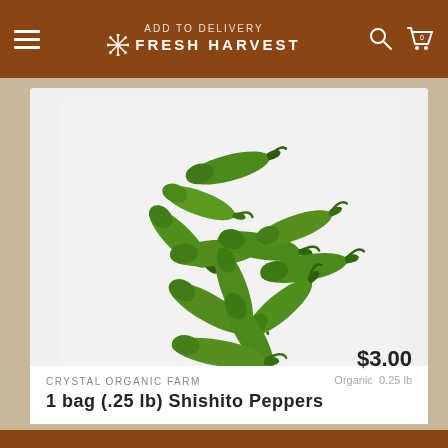ADD TO DELIVERY | FRESH HARVEST
[Figure (photo): Pile of fresh green shishito peppers on white background]
CRYSTAL ORGANIC FARM
1 bag (.25 lb) Shishito Peppers
$3.00
Organic  0.25 lb